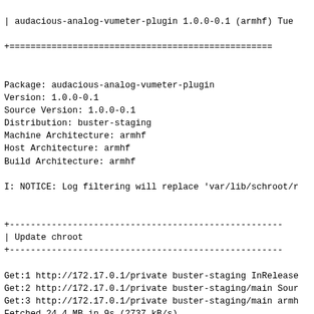| audacious-analog-vumeter-plugin 1.0.0-0.1 (armhf) Tue
+===========================================
Package: audacious-analog-vumeter-plugin
Version: 1.0.0-0.1
Source Version: 1.0.0-0.1
Distribution: buster-staging
Machine Architecture: armhf
Host Architecture: armhf
Build Architecture: armhf
I: NOTICE: Log filtering will replace 'var/lib/schroot/r
+----------------------------------------------------
| Update chroot
+----------------------------------------------------
Get:1 http://172.17.0.1/private buster-staging InRelease
Get:2 http://172.17.0.1/private buster-staging/main Sour
Get:3 http://172.17.0.1/private buster-staging/main armh
Fetched 24.4 MB in 9s (2737 kB/s)
Reading package lists...
W: No sandbox user '_apt' on the system, can not drop pr
+----------------------------------------------------
| Fetch source files
+----------------------------------------------------
Check APT